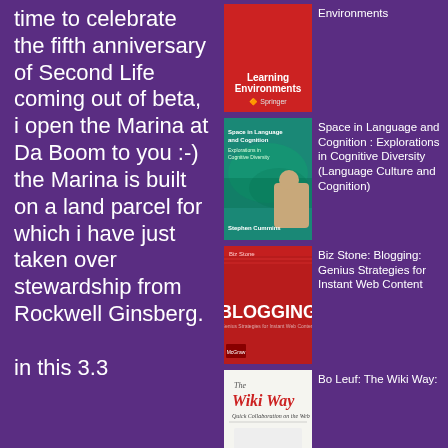time to celebrate the fifth anniversary of Second Life coming out of beta, i open the Marina at Da Boom to you :-) the Marina is built on a land parcel for which i have just taken over stewardship from Rockwell Ginsberg.

in this 3.3
[Figure (photo): Book cover: red cover with title about Learning Environments, Springer publisher logo]
Environments
[Figure (photo): Book cover: green cover - Space in Language and Cognition: Explorations in Cognitive Diversity (Language Culture and Cognition), with image of person]
Space in Language and Cognition : Explorations in Cognitive Diversity (Language Culture and Cognition)
[Figure (photo): Book cover: red cover - Biz Stone: Blogging: Genius Strategies for Instant Web Content]
Biz Stone: Blogging: Genius Strategies for Instant Web Content
[Figure (photo): Book cover: white cover - Bo Leuf: The Wiki Way: Quick Collaboration on the Web]
Bo Leuf: The Wiki Way: